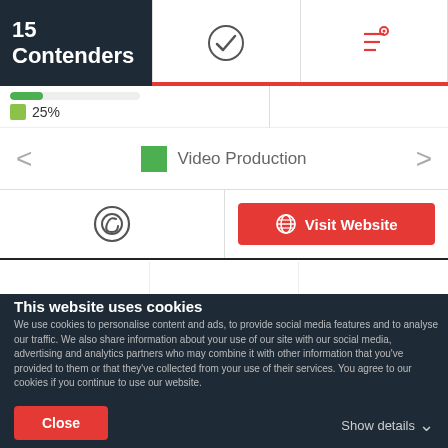15 Contenders
[Figure (screenshot): Two icon buttons in header: a checkmark icon and a filter/settings icon with red underline (active state)]
[Figure (infographic): Progress bar showing 25% completion with green color]
25%
Video Production
[Figure (infographic): Copyright/C symbol icon]
Visit Website
Enlightened
This website uses cookies
We use cookies to personalise content and ads, to provide social media features and to analyse our traffic. We also share information about your use of our site with our social media, advertising and analytics partners who may combine it with other information that you've provided to them or that they've collected from your use of their services. You agree to our cookies if you continue to use our website.
Close
Show details